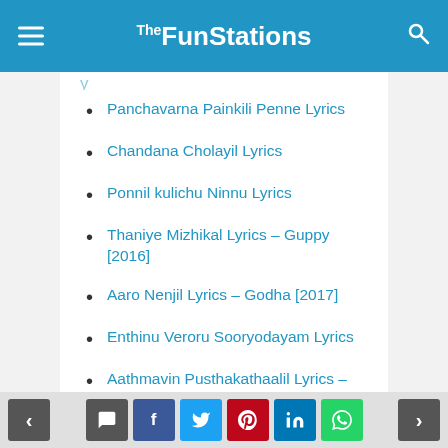TheFunStations
Panchavarna Painkili Penne Lyrics
Chandana Cholayil Lyrics
Ponnil kulichu Ninnu Lyrics
Thaniye Mizhikal Lyrics – Guppy [2016]
Aaro Nenjil Lyrics – Godha [2017]
Enthinu Veroru Sooryodayam Lyrics
Aathmavin Pusthakathaalil Lyrics – Mazhayethum Munpe
Lailakame Lyrics – Ezra [2017]
Oru Kari Mukilinu Lyrics – Charlie [2015]
Puthumazhayai Lyrics – Charlie [2015]
< comment facebook twitter pinterest linkedin whatsapp >